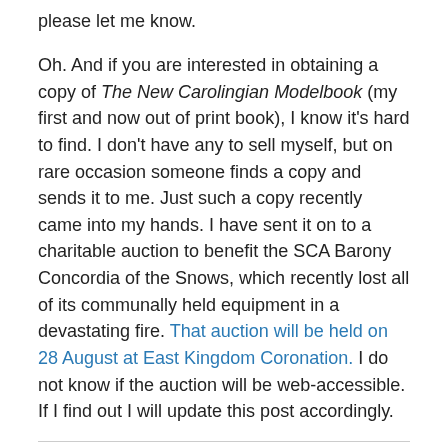please let me know.
Oh. And if you are interested in obtaining a copy of The New Carolingian Modelbook (my first and now out of print book), I know it's hard to find. I don't have any to sell myself, but on rare occasion someone finds a copy and sends it to me. Just such a copy recently came into my hands. I have sent it on to a charitable auction to benefit the SCA Barony Concordia of the Snows, which recently lost all of its communally held equipment in a devastating fire. That auction will be held on 28 August at East Kingdom Coronation. I do not know if the auction will be web-accessible. If I find out I will update this post accordingly.
Share this: